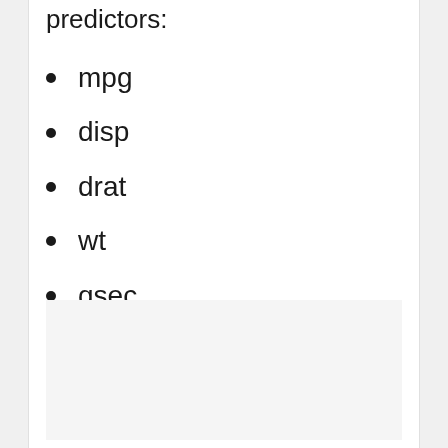predictors:
mpg
disp
drat
wt
qsec